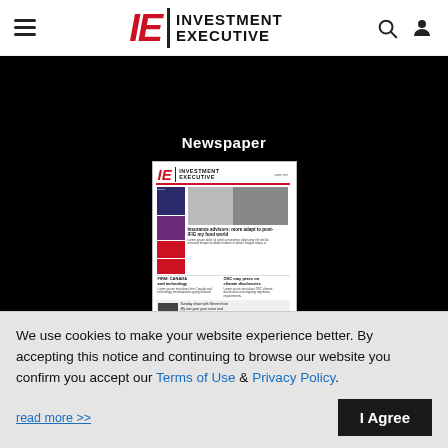Investment Executive
Newspaper
[Figure (screenshot): Thumbnail of Investment Executive newspaper front page showing masthead, cover photo of a woman in business attire, headlines about insurance advisors, OSC disclosures, and a feature story.]
We use cookies to make your website experience better. By accepting this notice and continuing to browse our website you confirm you accept our Terms of Use & Privacy Policy.
read more >>
I Agree